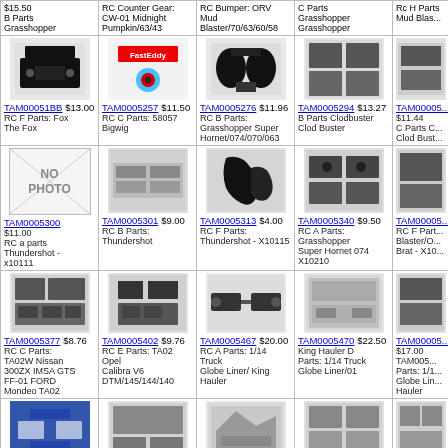| $15.50 B Parts Grasshopper | RC Counter Gear: CW-01 Midnight Pumpkin/63/43 | RC Bumper: ORV Mud Blaster/70/63/60/58 | C Parts Grasshopper Grasshopper | Rc H Parts Mud Blaster... |
| TAM00051BB $13.00 RC F Parts: Fox The Fox | TAM0005257 $11.50 RC C Parts: 58057 Bigwig | TAM0005276 $11.96 RC B Parts: Grasshopper Super Hornet/074/070/063 | TAM0005294 $13.27 B Parts Clodbuster Clod Buster | TAM00005... $11.44 C Parts C... Clod Bust... |
| TAM0005300 $11.00 RC a parts Thundershot - x10111 | TAM0005301 $9.00 RC B Parts: Thundershot | TAM0005313 $4.00 RC F Parts: Thundershot - X10115 | TAM0005340 $9.50 RC A Parts: Grasshopper Super Hornet 074 X10210 | TAM00005... RC F Part... Blaster/O... Brat - X10... |
| TAM0005377 $8.76 RC C Parts: TA02W Nissan 300ZX IMSA GTS FF-01 FORD Mondeo TA02 | TAM0005402 $9.76 RC E Parts: TA02 Opel Calibra V6 DTM/145/144/140 | TAM0005467 $20.00 RC A Parts: 1/14 Truck Globe Liner/ King Hauler | TAM0005470 $22.50 King Hauler D Parts: 1/14 Truck Globe Liner/01 | TAM00005... $17.00 TAM005... Parts: 1/1... Globe Lin... Hauler |
| TAM0005474 | ... | TAM0005519 $10.58... | TAM0005520 | TAM0005... |